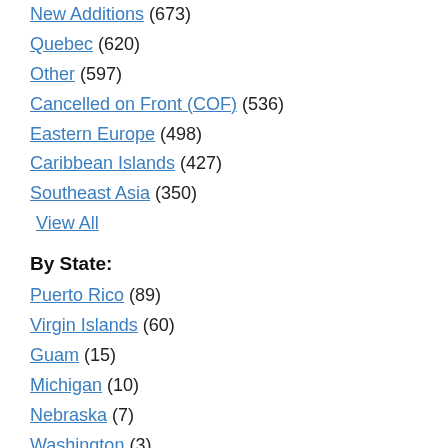New Additions (673)
Quebec (620)
Other (597)
Cancelled on Front (COF) (536)
Eastern Europe (498)
Caribbean Islands (427)
Southeast Asia (350)
View All
By State:
Puerto Rico (89)
Virgin Islands (60)
Guam (15)
Michigan (10)
Nebraska (7)
Washington (3)
Missouri (2)
Colorado (1)
Illinois (1)